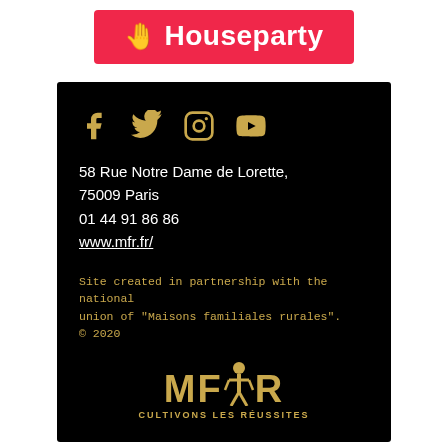[Figure (logo): Houseparty logo on a red/pink banner with a yellow waving hand emoji and white bold text 'Houseparty']
[Figure (infographic): Black card with golden social media icons (Facebook, Twitter, Instagram, YouTube), contact address, phone number, website, copyright notice, and MFR logo with tagline 'CULTIVONS LES RÉUSSITES']